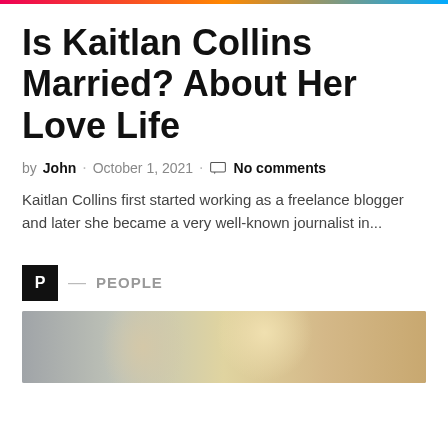Is Kaitlan Collins Married? About Her Love Life
by John · October 1, 2021 · No comments
Kaitlan Collins first started working as a freelance blogger and later she became a very well-known journalist in...
P — PEOPLE
[Figure (photo): Photo of Kaitlan Collins, a blonde woman, partially visible in a cropped strip]